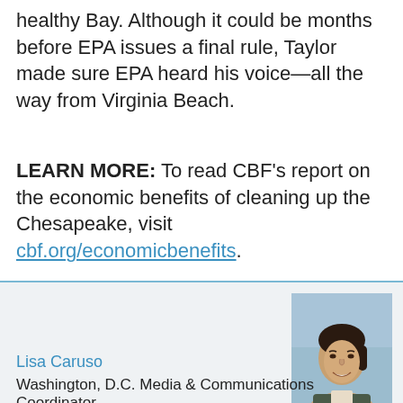healthy Bay. Although it could be months before EPA issues a final rule, Taylor made sure EPA heard his voice—all the way from Virginia Beach.
LEARN MORE: To read CBF's report on the economic benefits of cleaning up the Chesapeake, visit cbf.org/economicbenefits.
[Figure (photo): Headshot photo of Lisa Caruso, a woman with dark hair pulled back, smiling, wearing a dark jacket, photographed outdoors.]
Lisa Caruso
Washington, D.C. Media & Communications Coordinator